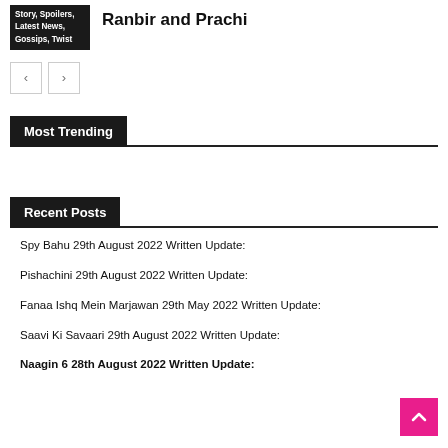Story, Spoilers, Latest News, Gossips, Twist
Ranbir and Prachi
Most Trending
Recent Posts
Spy Bahu 29th August 2022 Written Update:
Pishachini 29th August 2022 Written Update:
Fanaa Ishq Mein Marjawan 29th May 2022 Written Update:
Saavi Ki Savaari 29th August 2022 Written Update:
Naagin 6 28th August 2022 Written Update: